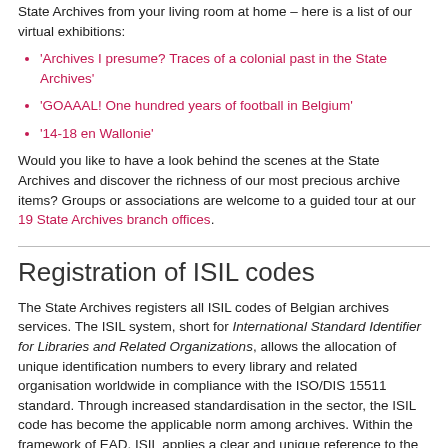State Archives from your living room at home – here is a list of our virtual exhibitions:
'Archives I presume? Traces of a colonial past in the State Archives'
'GOAAAL! One hundred years of football in Belgium'
'14-18 en Wallonie'
Would you like to have a look behind the scenes at the State Archives and discover the richness of our most precious archive items? Groups or associations are welcome to a guided tour at our 19 State Archives branch offices.
Registration of ISIL codes
The State Archives registers all ISIL codes of Belgian archives services. The ISIL system, short for International Standard Identifier for Libraries and Related Organizations, allows the allocation of unique identification numbers to every library and related organisation worldwide in compliance with the ISO/DIS 15511 standard. Through increased standardisation in the sector, the ISIL code has become the applicable norm among archives. Within the framework of EAD, ISIL applies a clear and unique reference to the origin of an item. This standardisation proves especially useful with a